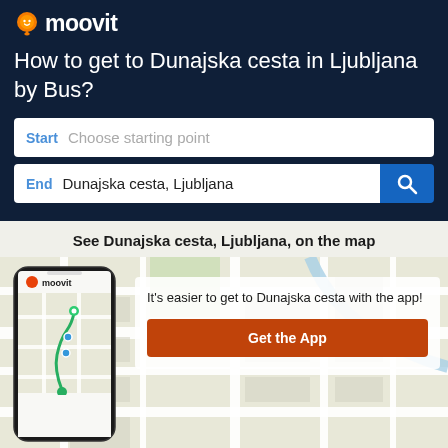[Figure (logo): Moovit logo with orange location pin icon and white text on dark navy background]
How to get to Dunajska cesta in Ljubljana by Bus?
Start  Choose starting point
End  Dunajska cesta, Ljubljana
See Dunajska cesta, Ljubljana, on the map
[Figure (screenshot): Map background with street grid of Ljubljana area, overlaid with a phone mockup showing Moovit app with route markers]
It's easier to get to Dunajska cesta with the app!
Get the App